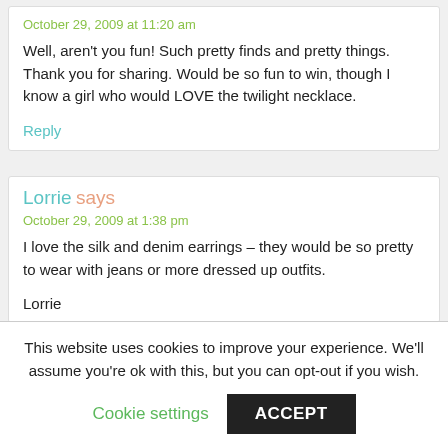October 29, 2009 at 11:20 am
Well, aren't you fun! Such pretty finds and pretty things. Thank you for sharing. Would be so fun to win, though I know a girl who would LOVE the twilight necklace.
Reply
Lorrie says
October 29, 2009 at 1:38 pm
I love the silk and denim earrings – they would be so pretty to wear with jeans or more dressed up outfits.
Lorrie
This website uses cookies to improve your experience. We'll assume you're ok with this, but you can opt-out if you wish.
Cookie settings
ACCEPT